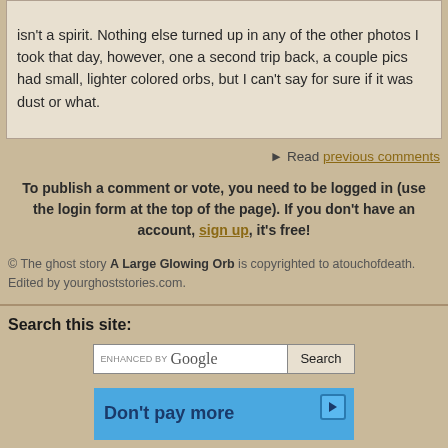isn't a spirit. Nothing else turned up in any of the other photos I took that day, however, one a second trip back, a couple pics had small, lighter colored orbs, but I can't say for sure if it was dust or what.
► Read previous comments
To publish a comment or vote, you need to be logged in (use the login form at the top of the page). If you don't have an account, sign up, it's free!
© The ghost story A Large Glowing Orb is copyrighted to atouchofdeath. Edited by yourghoststories.com.
Search this site:
[Figure (screenshot): Google search bar with 'enhanced by Google' placeholder and a Search button]
[Figure (screenshot): Advertisement banner in blue with text 'Don't pay more' and a play button icon]